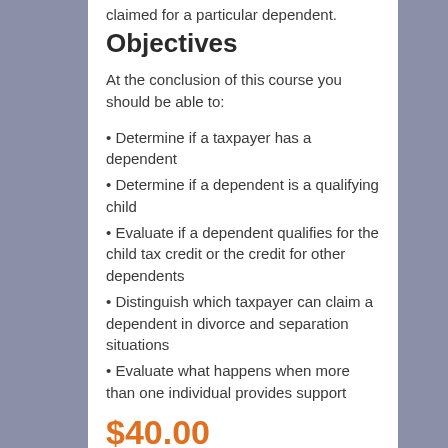claimed for a particular dependent.
Objectives
At the conclusion of this course you should be able to:
Determine if a taxpayer has a dependent
Determine if a dependent is a qualifying child
Evaluate if a dependent qualifies for the child tax credit or the credit for other dependents
Distinguish which taxpayer can claim a dependent in divorce and separation situations
Evaluate what happens when more than one individual provides support
$40.00